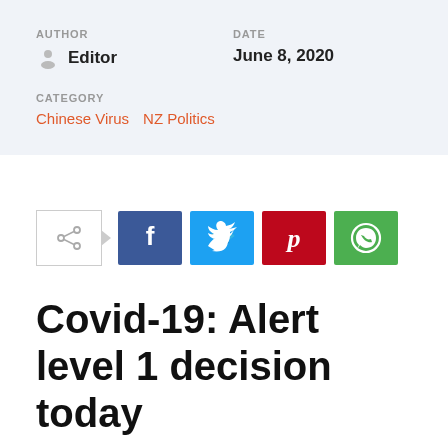AUTHOR
DATE
Editor
June 8, 2020
CATEGORY
Chinese Virus  NZ Politics
[Figure (infographic): Social share buttons: share icon with arrow, Facebook (blue), Twitter (light blue), Pinterest (red), WhatsApp (green)]
Covid-19: Alert level 1 decision today
RNZ: